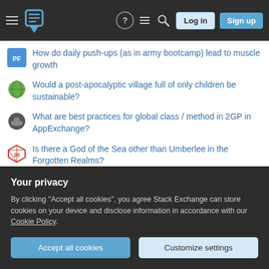Stack Exchange navigation header with Log in and Sign up buttons
How do daily push-ups (as in army bootcamp) lead to muscle growth
Would a post-apocalyptic village full of only children be sustainable?
What are best practices for global class / method in 2GP in AppExchange?
Is there a God of the Sea other than Umberlee in the Forgotten Realms?
I want to cook brown and white rice together
Improving a region plot
What to do if a reviewer asks to delete and another asks to add more details
Your privacy
By clicking "Accept all cookies", you agree Stack Exchange can store cookies on your device and disclose information in accordance with our Cookie Policy.
[Accept all cookies] [Customize settings]